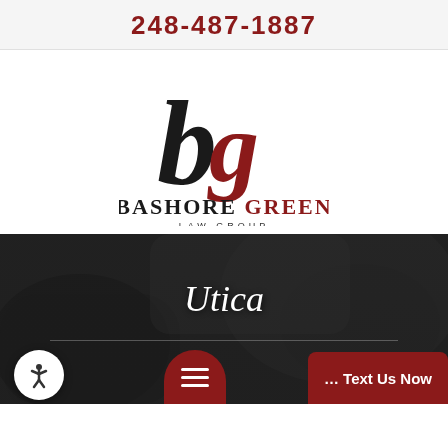248-487-1887
[Figure (logo): Bashore Green Law Group logo with stylized 'b' and 'g' monogram in black and dark red, followed by firm name 'BASHORE GREEN LAW GROUP']
Utica
[Figure (photo): Dark background photo showing a car interior detail (steering wheel area)]
... Text Us Now